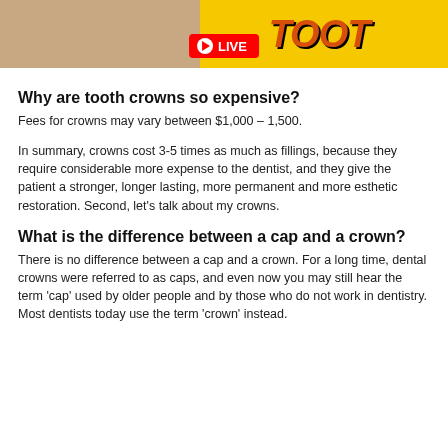[Figure (screenshot): Top banner image showing a person's face (lower portion) on the left with a skin-toned background, and a yellow/orange background on the right with large bold italic text. A red LIVE badge with a play button is centered at the bottom of the banner.]
Why are tooth crowns so expensive?
Fees for crowns may vary between $1,000 – 1,500.
In summary, crowns cost 3-5 times as much as fillings, because they require considerable more expense to the dentist, and they give the patient a stronger, longer lasting, more permanent and more esthetic restoration. Second, let's talk about my crowns.
What is the difference between a cap and a crown?
There is no difference between a cap and a crown. For a long time, dental crowns were referred to as caps, and even now you may still hear the term 'cap' used by older people and by those who do not work in dentistry. Most dentists today use the term 'crown' instead.